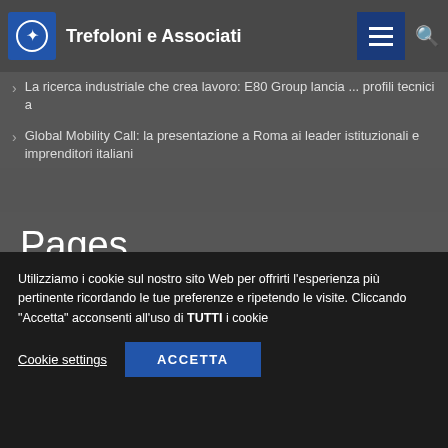Trefoloni e Associati
La ricerca industriale che crea lavoro: E80 Group lancia ... profili tecnici a
Global Mobility Call: la presentazione a Roma ai leader istituzionali e imprenditori italiani
Pages
Servizi
News
Clienti
Utilizziamo i cookie sul nostro sito Web per offrirti l'esperienza più pertinente ricordando le tue preferenze e ripetendo le visite. Cliccando "Accetta" acconsenti all'uso di TUTTI i cookie
Cookie settings
ACCETTA